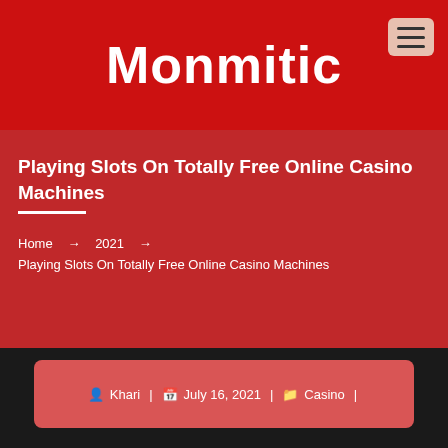Monmitic
Playing Slots On Totally Free Online Casino Machines
Home → 2021 → Playing Slots On Totally Free Online Casino Machines
Khari | July 16, 2021 | Casino |